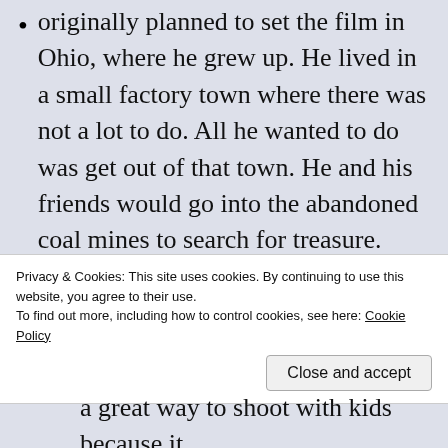originally planned to set the film in Ohio, where he grew up. He lived in a small factory town where there was not a lot to do. All he wanted to do was get out of that town. He and his friends would go into the abandoned coal mines to search for treasure.
Richard Donner, the man responsible for the hit Superman films of the 1970s, was chosen to direct.
Starting in the fall of 1984, Donner generally shot the film in order of continuity. Of course, it would be impossible to do the film this way
Privacy & Cookies: This site uses cookies. By continuing to use this website, you agree to their use.
To find out more, including how to control cookies, see here: Cookie Policy
a great way to shoot with kids because it